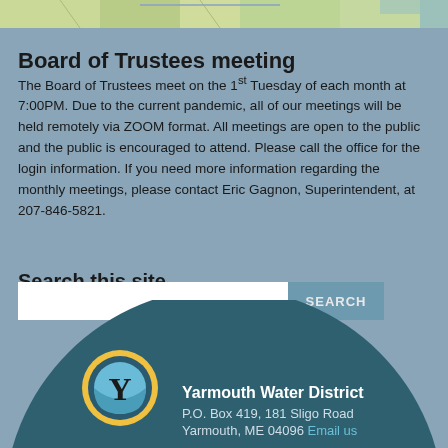[Figure (map): Partial view of a map strip at the top of the page]
Board of Trustees meeting
The Board of Trustees meet on the 1st Tuesday of each month at 7:00PM. Due to the current pandemic, all of our meetings will be held remotely via ZOOM format. All meetings are open to the public and the public is encouraged to attend. Please call the office for the login information. If you need more information regarding the monthly meetings, please contact Eric Gagnon, Superintendent, at 207-846-5821.
Search this site
[Figure (screenshot): Search bar with text input and SEARCH button]
[Figure (logo): Yarmouth Water District logo — circular emblem with Y letter]
Yarmouth Water District
P.O. Box 419, 181 Sligo Road
Yarmouth, ME 04096 Email us